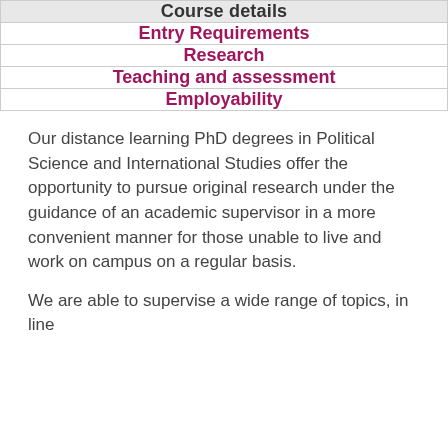| Course details |
| --- |
| Entry Requirements |
| Research |
| Teaching and assessment |
| Employability |
Our distance learning PhD degrees in Political Science and International Studies offer the opportunity to pursue original research under the guidance of an academic supervisor in a more convenient manner for those unable to live and work on campus on a regular basis.
We are able to supervise a wide range of topics, in line